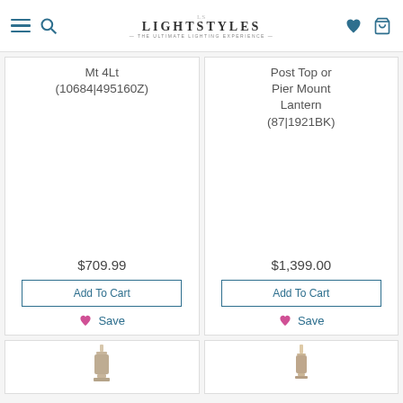LightStyles — The Ultimate Lighting Experience
Mt 4Lt (10684|495160Z)
$709.99
Add To Cart
Save
Post Top or Pier Mount Lantern (87|1921BK)
$1,399.00
Add To Cart
Save